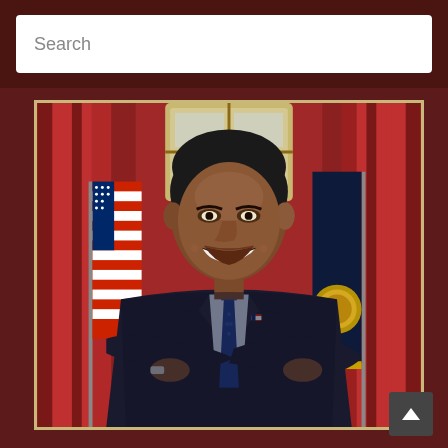Search
[Figure (photo): Official portrait photograph of President Barack Obama in the Oval Office, wearing a dark suit with blue tie, arms crossed, smiling. American flag visible on left, Presidential seal flag on right, red curtains in background.]